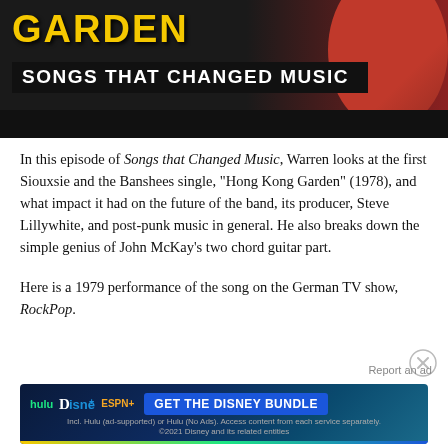[Figure (screenshot): Thumbnail image showing 'Hong Kong Garden – Songs That Changed Music' with yellow bold text 'GARDEN' and white text 'SONGS THAT CHANGED MUSIC' on dark background, with a female face silhouette on right side]
In this episode of Songs that Changed Music, Warren looks at the first Siouxsie and the Banshees single, "Hong Kong Garden" (1978), and what impact it had on the future of the band, its producer, Steve Lillywhite, and post-punk music in general. He also breaks down the simple genius of John McKay's two chord guitar part.
Here is a 1979 performance of the song on the German TV show, RockPop.
Report an ad
[Figure (screenshot): Disney Bundle advertisement banner showing Hulu, Disney+, ESPN+ logos and 'GET THE DISNEY BUNDLE' button with fine print about Hulu subscription options, ©2021 Disney]